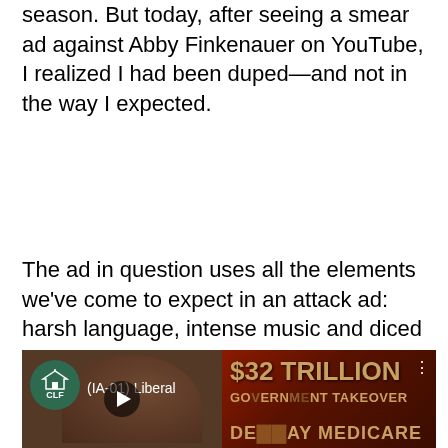season. But today, after seeing a smear ad against Abby Finkenauer on YouTube, I realized I had been duped—and not in the way I expected.
The ad in question uses all the elements we've come to expect in an attack ad: harsh language, intense music and diced together quotes. The spot ran for 15-seconds, and apparently doesn't require the boiler plate stating who paid for the ad. The 30 second spot is show below.
[Figure (screenshot): Video thumbnail showing a YouTube-style political attack ad. Left side shows CLF (Congressional Leadership Fund) green circular badge with a capitol building icon, label '(IA-01) Liberal' in white text, and a blurred face of an elderly person. Right side shows dark red/brown background with text '$32 TRILLION' in gold, 'GOVERNMENT TAKEOVER' below it, and partially visible 'MEDICARE' text at bottom. A play button is centered on the left panel.]